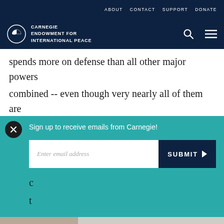ABOUT   CONTACT   SUPPORT   DONATE
[Figure (logo): Carnegie Endowment for International Peace logo with circular icon and navigation icons (search, menu)]
spends more on defense than all other major powers combined -- even though very nearly all of them are
[Figure (screenshot): Email signup popup overlay with teal background. Close button (X), text 'Sign up to receive emails from Carnegie!', email input field, and SUBMIT button.]
essence of good governance and would free up resources for endeavors that could help broader
Print | Share icons: Facebook, Twitter, WhatsApp, Messenger, LinkedIn